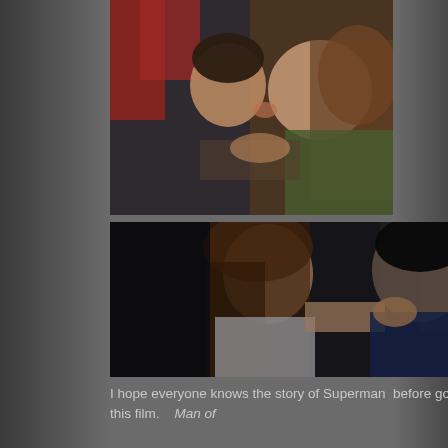[Figure (photo): Two people about to kiss — one wearing a Superman suit (red cape visible) and a woman with brown hair in a green jacket, facing each other closely.]
[Figure (photo): A woman with auburn hair facing a tall dark-haired man in a Superman costume (blue suit with red cape), hands on his shoulders, in a dramatic confrontational or emotional pose in a dimly lit setting.]
I hope everyone knows the story of Superman  before going into this film.    Man of